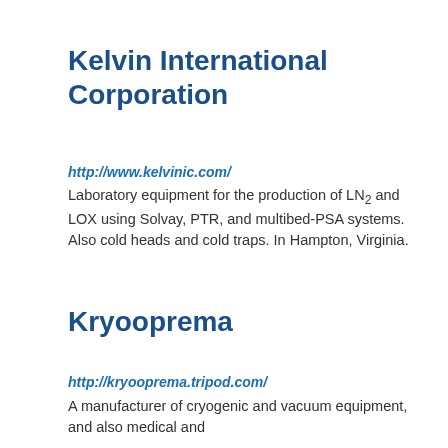Kelvin International Corporation
http://www.kelvinic.com/
Laboratory equipment for the production of LN2 and LOX using Solvay, PTR, and multibed-PSA systems. Also cold heads and cold traps. In Hampton, Virginia.
Kryooprema
http://kryooprema.tripod.com/
A manufacturer of cryogenic and vacuum equipment, and also medical and